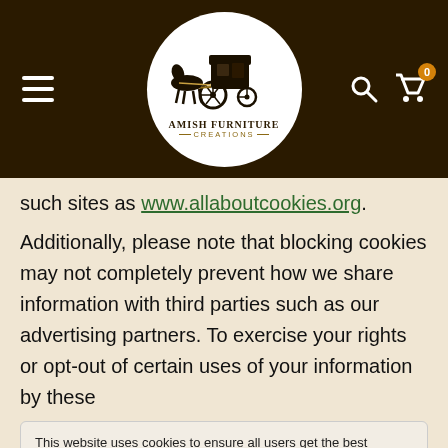[Figure (logo): Amish Furniture Creations logo with horse and buggy inside a white circle on dark brown header background, with hamburger menu icon on left and search/cart icons on right]
such sites as www.allaboutcookies.org.
Additionally, please note that blocking cookies may not completely prevent how we share information with third parties such as our advertising partners. To exercise your rights or opt-out of certain uses of your information by these
This website uses cookies to ensure all users get the best experience on this site.  Click here for more information
Accept
Chat with us
please see their complete Cookie Policy HERE.